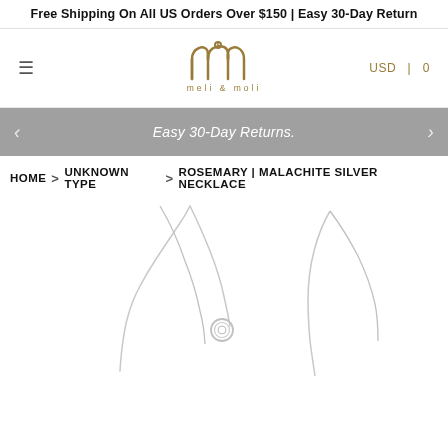Free Shipping On All US Orders Over $150 | Easy 30-Day Return
[Figure (logo): Meli & Moli brand logo — stylized MM crown design in gold/olive color above the text 'meli & moli']
USD  0
Easy 30-Day Returns.
HOME > UNKNOWN TYPE > ROSEMARY | MALACHITE SILVER NECKLACE
[Figure (photo): Product photo of a silver chain necklace with small circular malachite pendants on a white background, partially visible.]